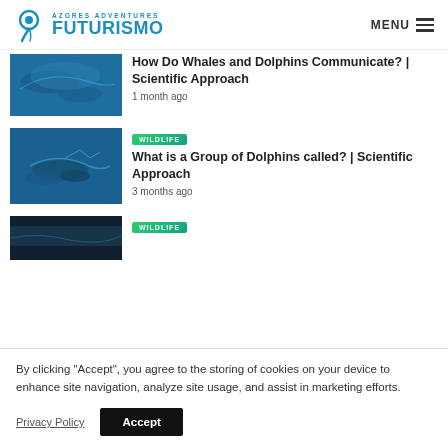AZORES ADVENTURES FUTURISMO | MENU
How Do Whales and Dolphins Communicate? | Scientific Approach
1 month ago
What is a Group of Dolphins called? | Scientific Approach
3 months ago
[Figure (photo): Underwater photo of whales swimming in blue water]
[Figure (photo): Underwater photo of dolphins swimming together]
[Figure (photo): Partial underwater dark ocean photo]
By clicking “Accept”, you agree to the storing of cookies on your device to enhance site navigation, analyze site usage, and assist in marketing efforts.
Privacy Policy
Accept